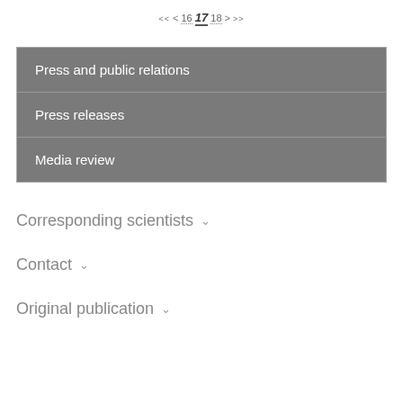<< < 16 17 18 > >>
Press and public relations
Press releases
Media review
Corresponding scientists ∨
Contact ∨
Original publication ∨